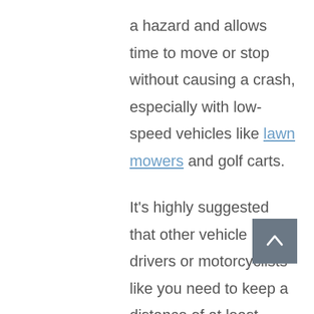a hazard and allows time to move or stop without causing a crash, especially with low-speed vehicles like lawn mowers and golf carts.

It's highly suggested that other vehicle drivers or motorcyclists like you need to keep a distance of at least seconds from a motorcycle. Choose a fixed object close to the roadway and then count the seconds between once the motor passes and your car passes th object.